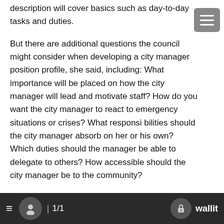description will cover basics such as day-to-day tasks and duties.
But there are additional questions the council might consider when developing a city manager position profile, she said, including: What importance will be placed on how the city manager will lead and motivate staff? How do you want the city manager to react to emergency situations or crises? What responsi bilities should the city manager absorb on her or his own? Which duties should the manager be able to delegate to others? How accessible should the city manager be to the community?
Some things that set apart managers, she said, are “approach to management and approach to leadership.”
Councilor Donna Jordan noted an additional consideration.
“I would think the council would also want to think about some of the things like whether you want the city manager to live in the city of Lake Oswego or not,” Jordan said. “Those are some of the things that are not generally thought about at the outset but may
1/1   wallit